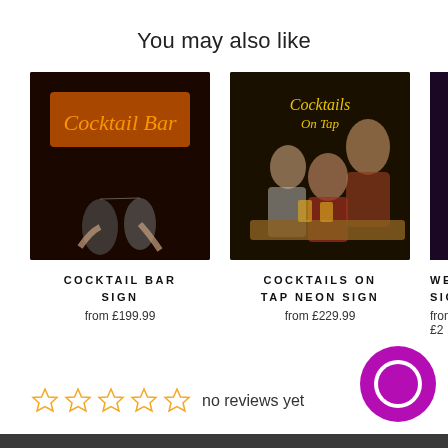You may also like
[Figure (photo): Photo of cocktail bar neon sign with people toasting wine glasses in dark bar setting]
COCKTAIL BAR SIGN
from £199.99
[Figure (photo): Photo of Cocktails On Tap neon sign with three men sitting at bar with beer glasses]
COCKTAILS ON TAP NEON SIGN
from £229.99
[Figure (photo): Partially visible third product image - Welcome sign]
WELCOM SIG
from £2
no reviews yet